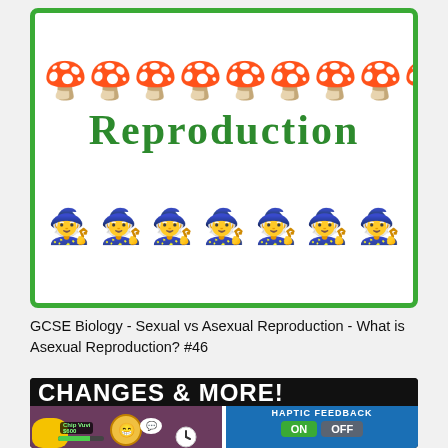[Figure (illustration): Educational thumbnail with green border showing mushroom icons at top, large green text 'REPRODUCTION' in the center, and gnome/snowman character icons at the bottom]
GCSE Biology - Sexual vs Asexual Reproduction - What is Asexual Reproduction? #46
[Figure (screenshot): Gaming/app thumbnail with black background showing 'CHANGES & MORE!' in large white bold text, with game characters on left side showing a yellow blob character, Chip Vuvi label, health bar, egg face character, speech bubble, a divider, and right blue side showing HAPTIC FEEDBACK label with ON and OFF toggle buttons]